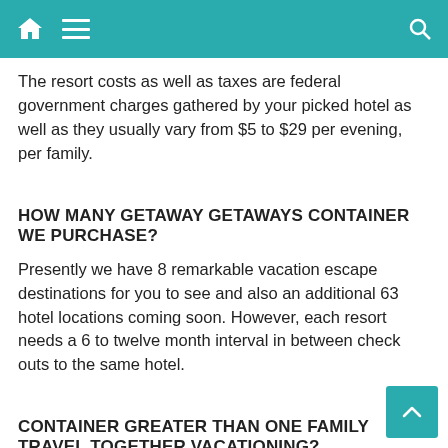The resort costs as well as taxes are federal government charges gathered by your picked hotel as well as they usually vary from $5 to $29 per evening, per family.
HOW MANY GETAWAY GETAWAYS CONTAINER WE PURCHASE?
Presently we have 8 remarkable vacation escape destinations for you to see and also an additional 63 hotel locations coming soon. However, each resort needs a 6 to twelve month interval in between check outs to the same hotel.
CONTAINER GREATER THAN ONE FAMILY TRAVEL TOGETHER VACATIONING?